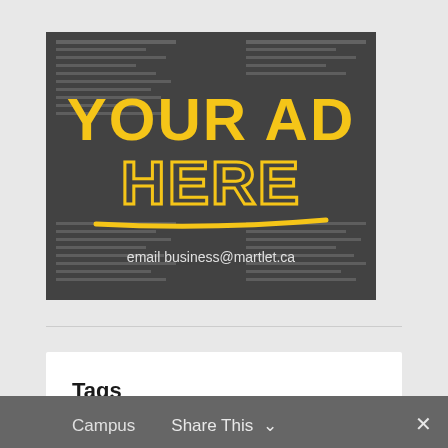[Figure (illustration): Advertisement placeholder image showing newspaper background with large yellow bold text 'YOUR AD HERE', a yellow underline stroke, and white text 'email business@martlet.ca' at the bottom center.]
Tags
Campus
Share This ✓  ✕